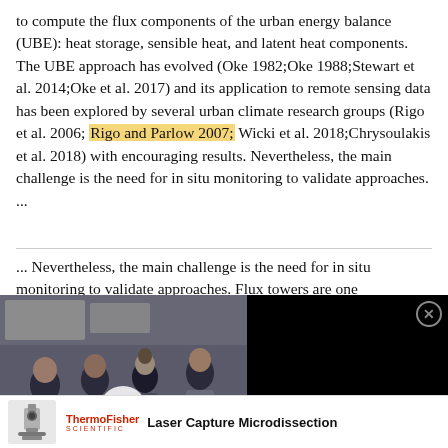to compute the flux components of the urban energy balance (UBE): heat storage, sensible heat, and latent heat components. The UBE approach has evolved (Oke 1982;Oke 1988;Stewart et al. 2014;Oke et al. 2017) and its application to remote sensing data has been explored by several urban climate research groups (Rigo et al. 2006; Rigo and Parlow 2007; Wicki et al. 2018;Chrysoulakis et al. 2018) with encouraging results. Nevertheless, the main challenge is the need for in situ monitoring to validate approaches. ...
... Nevertheless, the main challenge is the need for in situ monitoring to validate approaches. Flux towers are one...
[Figure (other): Video advertisement overlay: 'Are marketing budgets on autopilot?' showing people in a meeting/office setting with a play button. Black background on right side with close button and headline text.]
[Figure (other): Thermo Fisher Scientific advertisement for Laser Capture Microdissection, showing microscope image and logo.]